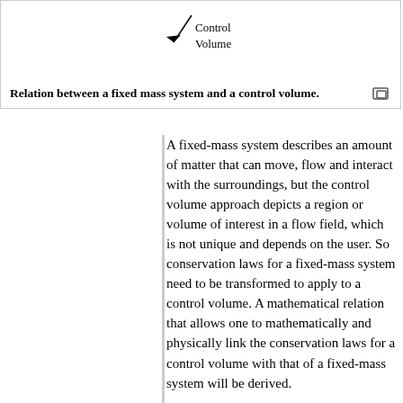[Figure (illustration): Diagram showing a control volume with an arrow pointing to label 'Control Volume']
Relation between a fixed mass system and a control volume.
A fixed-mass system describes an amount of matter that can move, flow and interact with the surroundings, but the control volume approach depicts a region or volume of interest in a flow field, which is not unique and depends on the user. So conservation laws for a fixed-mass system need to be transformed to apply to a control volume. A mathematical relation that allows one to mathematically and physically link the conservation laws for a control volume with that of a fixed-mass system will be derived.
The figure on the right shows the flow field under consideration. At time t, the control volume shown by the solid line coincides with a single-phase fixed-mass system depicted by the dashed line. At time t + dt, a portion of the fixed-mass system moves outside of the boundaries of the control volume. It can be seen from the figure on the right that region I is